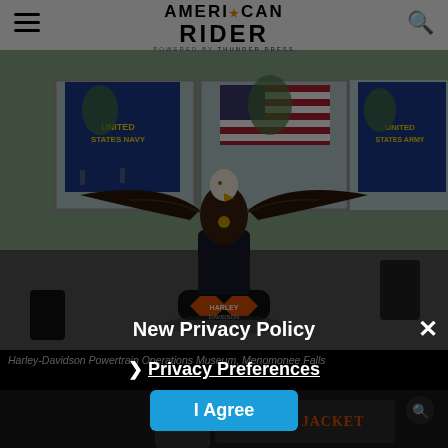AMERICAN RIDER powered by THUNDER PRESS
[Figure (photo): Indoor photo of a large Harley-Davidson eagle sculpture with wings spread, mounted on a Harley-Davidson logo base, displayed in a room with US flags, US Navy flag, and US Army flag hanging in the background windows. Outdoor trees and people visible through windows.]
Harley-Davidson Powertrain Operations Museum, Menomonee Falls
New Privacy Policy
❯ Privacy Preferences
I Agree